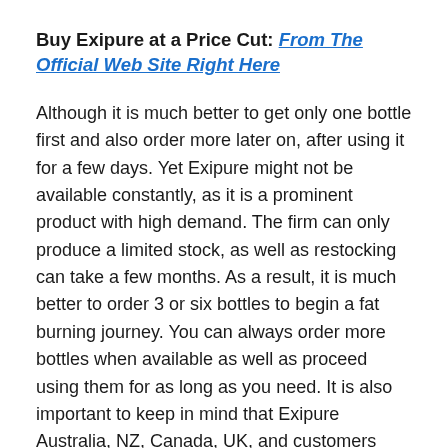Buy Exipure at a Price Cut: From The Official Web Site Right Here
Although it is much better to get only one bottle first and also order more later on, after using it for a few days. Yet Exipure might not be available constantly, as it is a prominent product with high demand. The firm can only produce a limited stock, as well as restocking can take a few months. As a result, it is much better to order 3 or six bottles to begin a fat burning journey. You can always order more bottles when available as well as proceed using them for as long as you need. It is also important to keep in mind that Exipure Australia, NZ, Canada, UK, and customers from other nations worldwide need to also place their orders on the